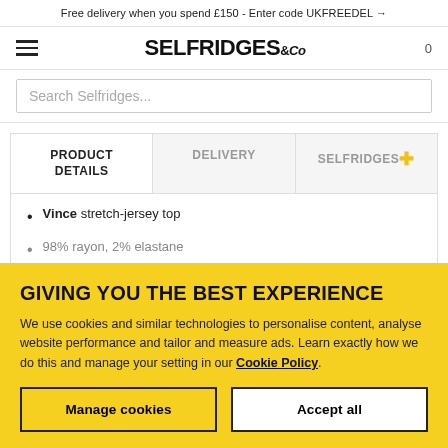Free delivery when you spend £150 - Enter code UKFREEDEL →
SELFRIDGES &Co
Search Selfridges...
| PRODUCT DETAILS | DELIVERY | SELFRIDGES+ |
| --- | --- | --- |
Vince stretch-jersey top
98% rayon, 2% elastane
GIVING YOU THE BEST EXPERIENCE
We use cookies and similar technologies to personalise content, analyse website performance and tailor and measure ads. Learn exactly how we do this and manage your setting in our Cookie Policy.
Manage cookies
Accept all